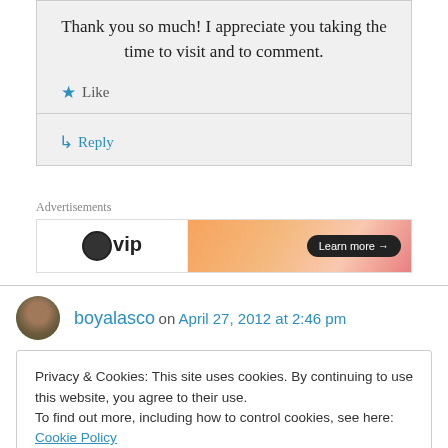Thank you so much! I appreciate you taking the time to visit and to comment.
★ Like
↳ Reply
Advertisements
[Figure (illustration): Advertisement banner showing a logo with headphones icon and 'vip' text on left, and an orange/pink gradient area with 'Learn more →' button on right]
boyalasco on April 27, 2012 at 2:46 pm
Privacy & Cookies: This site uses cookies. By continuing to use this website, you agree to their use.
To find out more, including how to control cookies, see here: Cookie Policy
Close and accept
↳ Reply